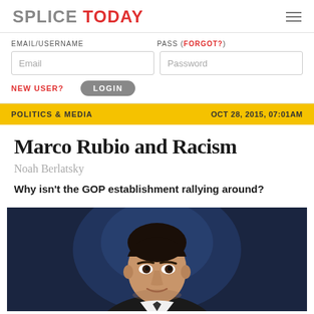SPLICE TODAY
EMAIL/USERNAME   PASS (FORGOT?)   Email   Password   NEW USER?   LOGIN
POLITICS & MEDIA   OCT 28, 2015, 07:01AM
Marco Rubio and Racism
Noah Berlatsky
Why isn't the GOP establishment rallying around?
[Figure (photo): Photo of Marco Rubio against a dark blue background, portrait style showing his face and upper body]